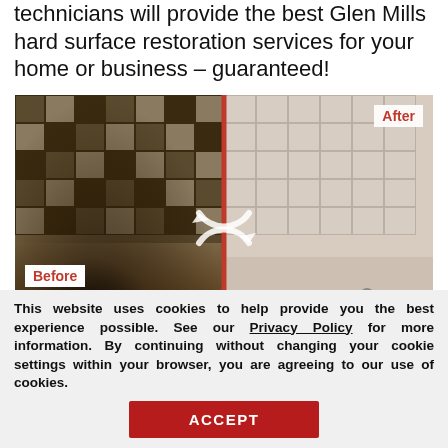technicians will provide the best Glen Mills hard surface restoration services for your home or business – guaranteed!
[Figure (photo): Before and after comparison photo of a shower/bathroom tile restoration. Left side shows severely dirty, mold-stained tiles and floor. Right side shows clean restored tiles. A red vertical divider separates the two sides. Labels 'Before' and 'After' are shown. A rotating arrow graphic overlaps the center. A 'Request a Free' popup appears in the bottom right.]
This website uses cookies to help provide you the best experience possible. See our Privacy Policy for more information. By continuing without changing your cookie settings within your browser, you are agreeing to our use of cookies.
ACCEPT